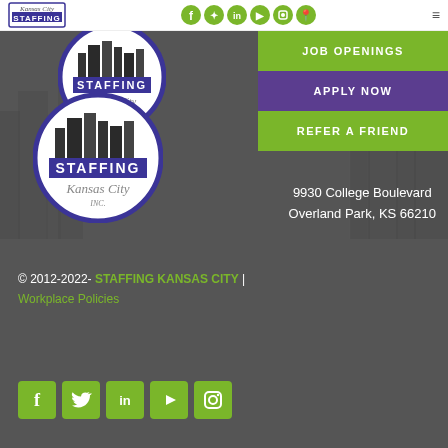[Figure (logo): Staffing Kansas City Inc. logo in header nav bar]
[Figure (logo): Social media circle icons: Facebook, Twitter, LinkedIn, YouTube, Instagram, Location]
[Figure (logo): Staffing Kansas City Inc. logo - large top circle version]
[Figure (logo): Staffing Kansas City Inc. logo - large bottom circle version]
JOB OPENINGS
APPLY NOW
REFER A FRIEND
9930 College Boulevard
Overland Park, KS 66210
© 2012-2022 - STAFFING KANSAS CITY | Workplace Policies
[Figure (logo): Footer social media square icon buttons: Facebook, Twitter, LinkedIn, YouTube, Instagram]